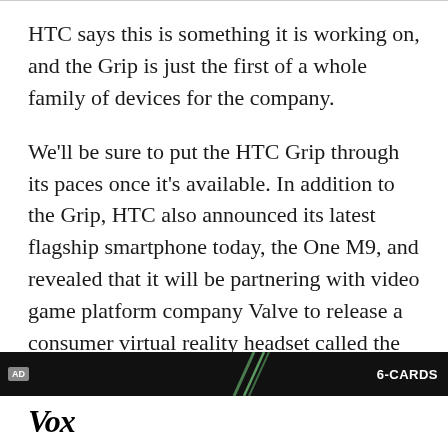HTC says this is something it is working on, and the Grip is just the first of a whole family of devices for the company.
We'll be sure to put the HTC Grip through its paces once it's available. In addition to the Grip, HTC also announced its latest flagship smartphone today, the One M9, and revealed that it will be partnering with video game platform company Valve to release a consumer virtual reality headset called the HTC Vive this spring.
[Figure (other): Advertisement bar with '6-CARDS' label and green accent lines on dark background]
Vox